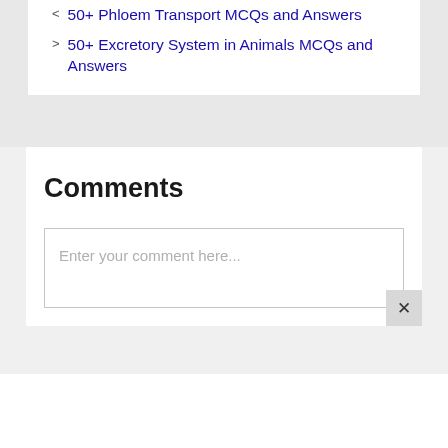50+ Phloem Transport MCQs and Answers
50+ Excretory System in Animals MCQs and Answers
Comments
Enter your comment here...